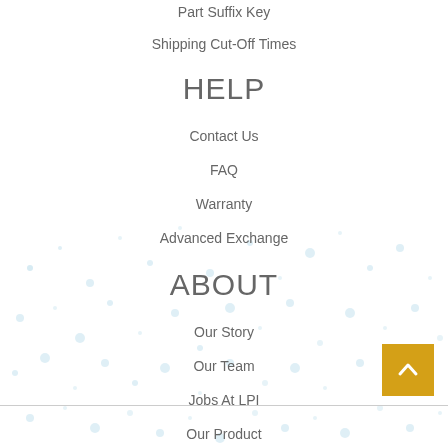Part Suffix Key
Shipping Cut-Off Times
HELP
Contact Us
FAQ
Warranty
Advanced Exchange
ABOUT
Our Story
Our Team
Jobs At LPI
Our Product
Blog